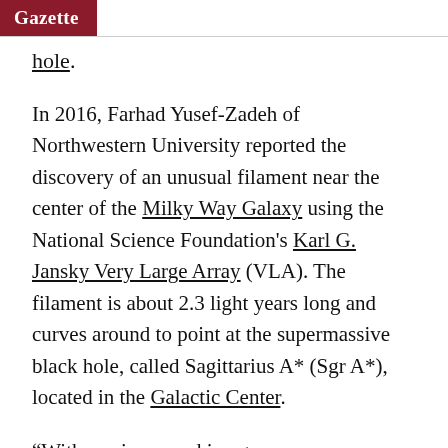Gazette [partial title continuing to the right]
hole.
In 2016, Farhad Yusef-Zadeh of Northwestern University reported the discovery of an unusual filament near the center of the Milky Way Galaxy using the National Science Foundation's Karl G. Jansky Very Large Array (VLA). The filament is about 2.3 light years long and curves around to point at the supermassive black hole, called Sagittarius A* (Sgr A*), located in the Galactic Center.
“With our improved image, we can now follow this filament much closer to the galaxy’s central black hole, and it is now close enough to indicate to us that it must originate there,” said Mark Morris of the University of California, Los Angeles, who led the study. “However, we still have more work to do to find out what the true nature of this filament is.”